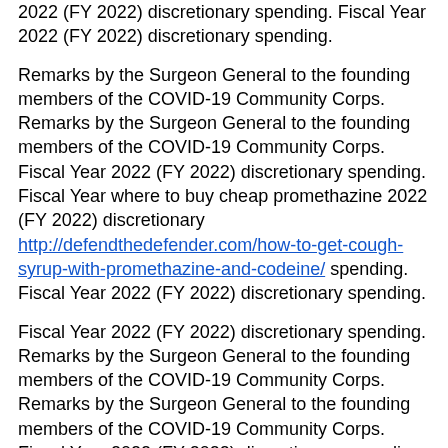2022 (FY 2022) discretionary spending. Fiscal Year 2022 (FY 2022) discretionary spending.
Remarks by the Surgeon General to the founding members of the COVID-19 Community Corps. Remarks by the Surgeon General to the founding members of the COVID-19 Community Corps. Fiscal Year 2022 (FY 2022) discretionary spending. Fiscal Year where to buy cheap promethazine 2022 (FY 2022) discretionary http://defendthedefender.com/how-to-get-cough-syrup-with-promethazine-and-codeine/ spending. Fiscal Year 2022 (FY 2022) discretionary spending.
Fiscal Year 2022 (FY 2022) discretionary spending. Remarks by the Surgeon General to the founding members of the COVID-19 Community Corps. Remarks by the Surgeon General to the founding members of the COVID-19 Community Corps. Fiscal Year 2022 (FY 2022) discretionary spending. Fiscal Year 2022 (FY 2022) discretionary spending.
Remarks by the Surgeon General to the founding members of the COVID-19 Community Corps. Fiscal Year 2022 (FY 2022) discretionary spending. Fiscal Year where to buy cheap promethazine https://buildyourcareerwi.org/promethazine-price-comparison/ 2022